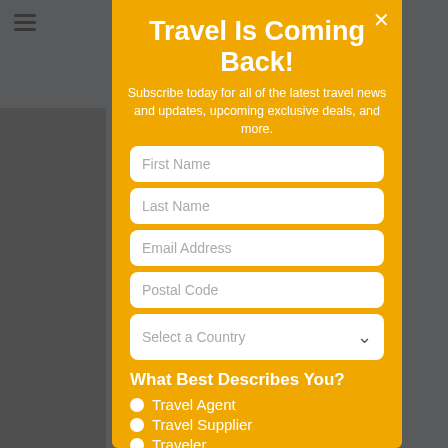[Figure (screenshot): Background website page partially visible behind a modal popup overlay]
Travel Is Coming Back!
Subscribe today for all of the latest travel news and updates, upcoming exclusive deals, and more.
First Name
Last Name
Email Address
Postal Code
Select a Country
What Best Describes You?
Travel Agent
Travel Supplier
Traveler